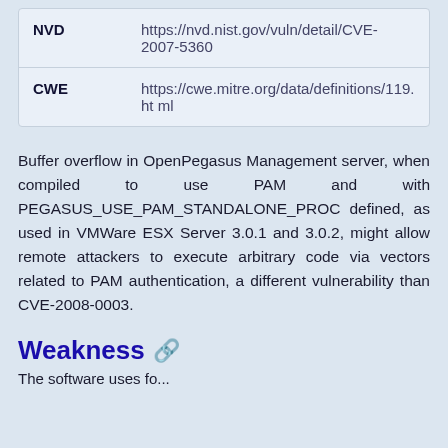| Source | URL |
| --- | --- |
| NVD | https://nvd.nist.gov/vuln/detail/CVE-2007-5360 |
| CWE | https://cwe.mitre.org/data/definitions/119.html |
Buffer overflow in OpenPegasus Management server, when compiled to use PAM and with PEGASUS_USE_PAM_STANDALONE_PROC defined, as used in VMWare ESX Server 3.0.1 and 3.0.2, might allow remote attackers to execute arbitrary code via vectors related to PAM authentication, a different vulnerability than CVE-2008-0003.
Weakness 🔗
The software uses...